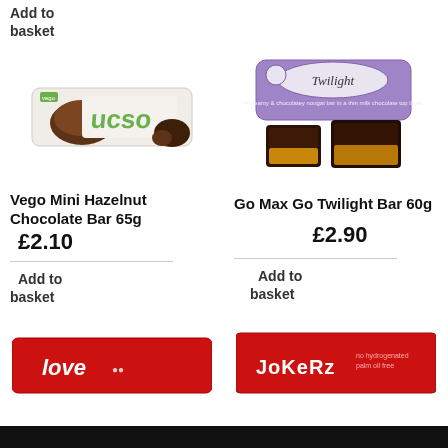Add to basket
[Figure (photo): Vego Mini Hazelnut Chocolate Bar 65g product photo showing a white wrapper with colorful Vego branding and chocolate]
Vego Mini Hazelnut Chocolate Bar 65g
£2.10
Add to basket
[Figure (photo): Go Max Go Twilight Bar 60g product photo showing purple wrapper and chocolate bar pieces]
Go Max Go Twilight Bar 60g
£2.90
Add to basket
[Figure (photo): Partial view of a red chocolate bar with 'love' text on wrapper]
[Figure (photo): Partial view of a Jokerz chocolate bar in red wrapper]